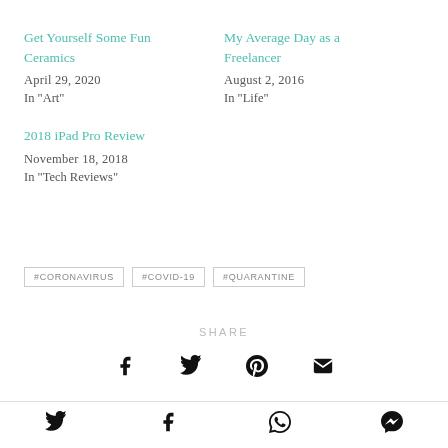Get Yourself Some Fun Ceramics
April 29, 2020
In "Art"
My Average Day as a Freelancer
August 2, 2016
In "Life"
2018 iPad Pro Review
November 18, 2018
In "Tech Reviews"
#CORONAVIRUS
#COVID-19
#QUARANTINE
SHARE
[Figure (infographic): Share icons: Facebook, Twitter, Pinterest, Email]
Social share bar: Twitter, Facebook, WhatsApp, Messenger